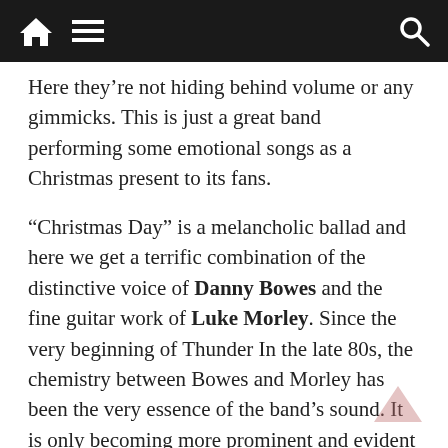[Navigation bar with home, menu, and search icons]
Here they’re not hiding behind volume or any gimmicks. This is just a great band performing some emotional songs as a Christmas present to its fans.
“Christmas Day” is a melancholic ballad and here we get a terrific combination of the distinctive voice of Danny Bowes and the fine guitar work of Luke Morley. Since the very beginning of Thunder In the late 80s, the chemistry between Bowes and Morley has been the very essence of the band’s sound. It is only becoming more prominent and evident over time. They are complemented by guitarist Ben Matthews